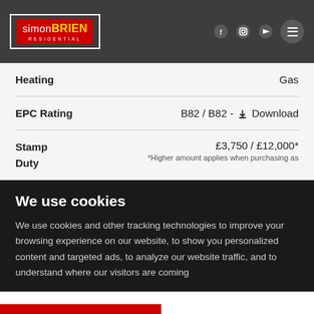[Figure (logo): Simon Brien Residential logo — red background with white 'simon' and gold 'BRIEN' text, 'RESIDENTIAL' subtitle, white border]
| Property Detail | Value |
| --- | --- |
| Heating | Gas |
| EPC Rating | B82 / B82 - Download |
| Stamp Duty | £3,750 / £12,000*
*Higher amount applies when purchasing as |
We use cookies
We use cookies and other tracking technologies to improve your browsing experience on our website, to show you personalized content and targeted ads, to analyze our website traffic, and to understand where our visitors are coming